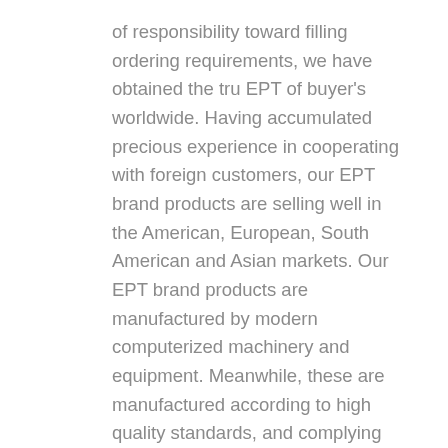of responsibility toward filling ordering requirements, we have obtained the tru EPT of buyer's worldwide. Having accumulated precious experience in cooperating with foreign customers, our EPT brand products are selling well in the American, European, South American and Asian markets. Our EPT brand products are manufactured by modern computerized machinery and equipment. Meanwhile, these are manufactured according to high quality standards, and complying with the international advanced standard criteria.
With many year's experience in this line, we will tru EPT by our advantages in competitive pricing, on-time delivery, prompt responses,on-hand engineering support and good after-sales services. Additionally, all our production procedures are in compliance with ISO9002 standards. We also can design and make non-standard products to meet